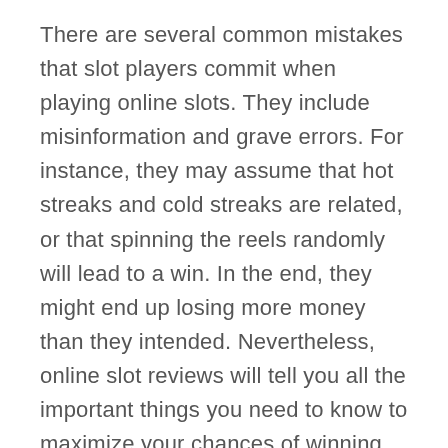There are several common mistakes that slot players commit when playing online slots. They include misinformation and grave errors. For instance, they may assume that hot streaks and cold streaks are related, or that spinning the reels randomly will lead to a win. In the end, they might end up losing more money than they intended. Nevertheless, online slot reviews will tell you all the important things you need to know to maximize your chances of winning. They will also let you know if there are bonus features that trigger when you least expect them.
Remember that an online slot has the...